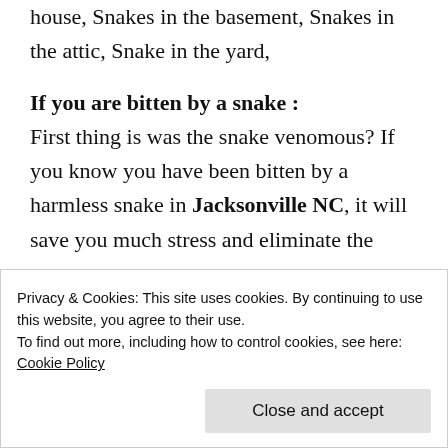house, Snakes in the basement, Snakes in the attic, Snake in the yard,
If you are bitten by a snake :
First thing is was the snake venomous? If you know you have been bitten by a harmless snake in Jacksonville NC, it will save you much stress and eliminate the
heal. If you are certain a
Privacy & Cookies: This site uses cookies. By continuing to use this website, you agree to their use.
To find out more, including how to control cookies, see here: Cookie Policy
Close and accept